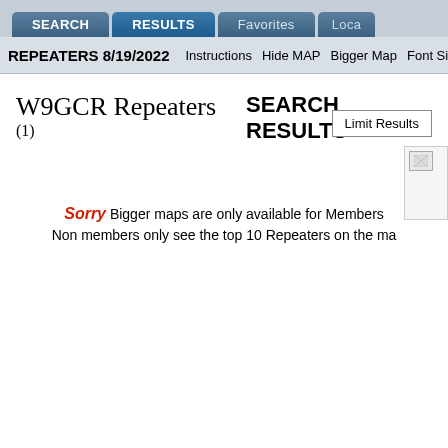SEARCH | RESULTS | Favorites | Loca…
REPEATERS 8/19/2022  Instructions  Hide MAP  Bigger Map  Font Size  w…
W9GCR Repeaters (1)
SEARCH RESULTS
Limit Results
Sorry Bigger maps are only available for Members Non members only see the top 10 Repeaters on the map